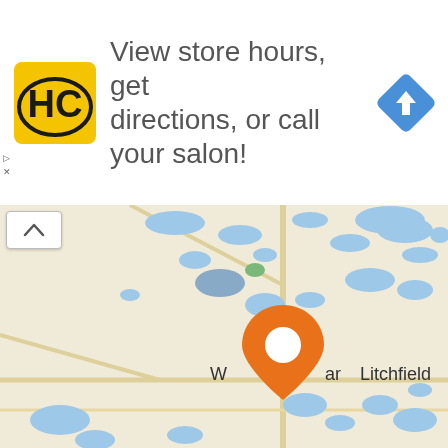[Figure (infographic): Advertisement banner for HC (Hair Club or similar salon brand) showing logo, text 'View store hours, get directions, or call your salon!', and a blue navigation/directions diamond icon on the right. Small AD label and X in upper left corner.]
View store hours, get directions, or call your salon!
[Figure (map): Google Maps screenshot showing a road map with blue water bodies/lakes, beige land, yellow roads. An orange location pin marker is placed in the center of the map near a town labeled 'Winmar' (partially obscured by pin). 'Litchfield' is visible to the right. A collapse/chevron up button is in the top-left of the map area.]